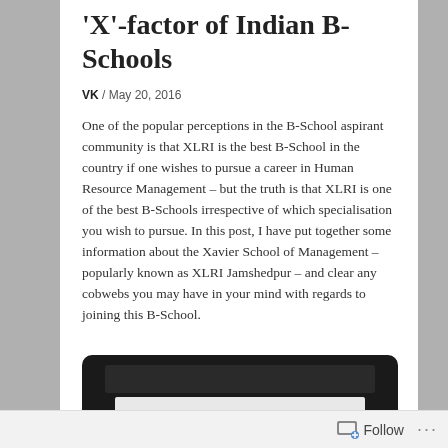'X'-factor of Indian B-Schools
VK / May 20, 2016
One of the popular perceptions in the B-School aspirant community is that XLRI is the best B-School in the country if one wishes to pursue a career in Human Resource Management – but the truth is that XLRI is one of the best B-Schools irrespective of which specialisation you wish to pursue. In this post, I have put together some information about the Xavier School of Management – popularly known as XLRI Jamshedpur – and clear any cobwebs you may have in your mind with regards to joining this B-School.
[Figure (screenshot): Partially visible screenshot of a webpage or presentation with dark border/background and white content area.]
Follow ...